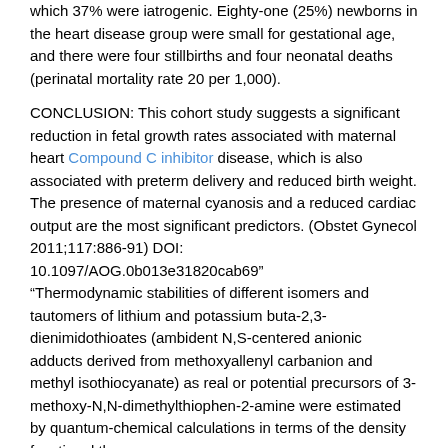which 37% were iatrogenic. Eighty-one (25%) newborns in the heart disease group were small for gestational age, and there were four stillbirths and four neonatal deaths (perinatal mortality rate 20 per 1,000).
CONCLUSION: This cohort study suggests a significant reduction in fetal growth rates associated with maternal heart Compound C inhibitor disease, which is also associated with preterm delivery and reduced birth weight. The presence of maternal cyanosis and a reduced cardiac output are the most significant predictors. (Obstet Gynecol 2011;117:886-91) DOI: 10.1097/AOG.0b013e31820cab69" "Thermodynamic stabilities of different isomers and tautomers of lithium and potassium buta-2,3-dienimidothioates (ambident N,S-centered anionic adducts derived from methoxyallenyl carbanion and methyl isothiocyanate) as real or potential precursors of 3-methoxy-N,N-dimethylthiophen-2-amine were estimated by quantum-chemical calculations in terms of the density functional theory.